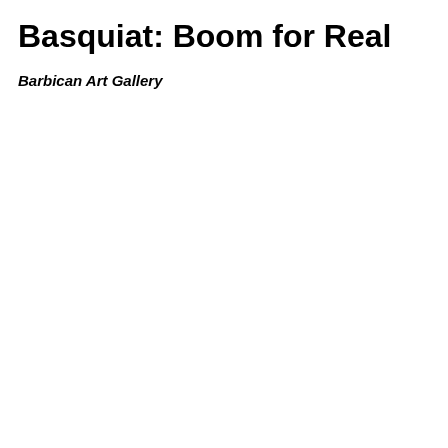Basquiat: Boom for Real
Barbican Art Gallery